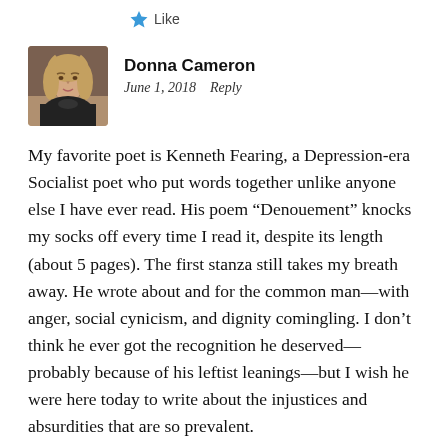[Figure (other): Star icon with Like text — social media like button]
[Figure (photo): Profile photo of Donna Cameron, a woman with blonde/brown hair and a black top]
Donna Cameron
June 1, 2018    Reply
My favorite poet is Kenneth Fearing, a Depression-era Socialist poet who put words together unlike anyone else I have ever read. His poem “Denouement” knocks my socks off every time I read it, despite its length (about 5 pages). The first stanza still takes my breath away. He wrote about and for the common man—with anger, social cynicism, and dignity comingling. I don’t think he ever got the recognition he deserved—probably because of his leftist leanings—but I wish he were here today to write about the injustices and absurdities that are so prevalent.